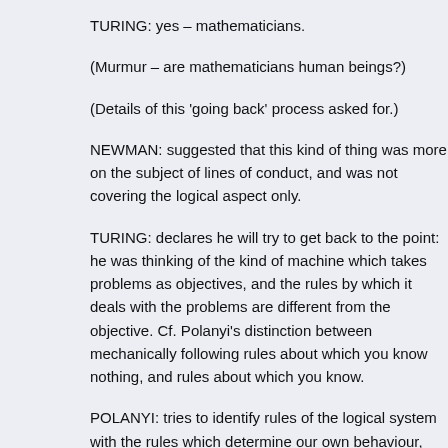TURING: yes – mathematicians.
(Murmur – are mathematicians human beings?)
(Details of this 'going back' process asked for.)
NEWMAN: suggested that this kind of thing was more on the subject of lines of conduct, and was not covering the logical aspect only.
TURING: declares he will try to get back to the point: he was thinking of the kind of machine which takes problems as objectives, and the rules by which it deals with the problems are different from the objective. Cf. Polanyi's distinction between mechanically following rules about which you know nothing, and rules about which you know.
POLANYI: tries to identify rules of the logical system with the rules which determine our own behaviour, and these are quite different things.
EMMET: the vital difference seems to be that a machine is not conscious.
TURING: a machine may act according to two different sets of rules, e.g. if I do an addition sum on the blackboard in two different ways: